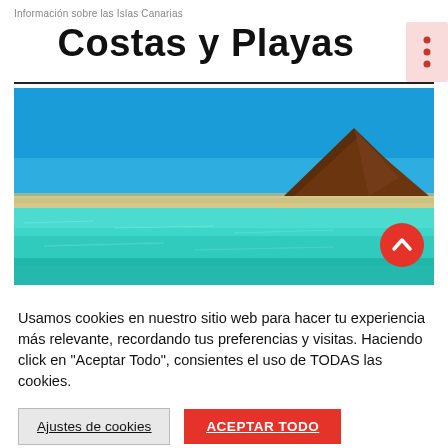Información sobre las Islas Canarias
Costas y Playas
[Figure (photo): A scenic beach photograph showing turquoise clear water in the foreground, a sandy beach in the middle ground, and a dark volcanic mountain (Montana Roja) under a bright blue sky, characteristic of the Canary Islands.]
Usamos cookies en nuestro sitio web para hacer tu experiencia más relevante, recordando tus preferencias y visitas. Haciendo click en "Aceptar Todo", consientes el uso de TODAS las cookies.
Ajustes de cookies
ACEPTAR TODO